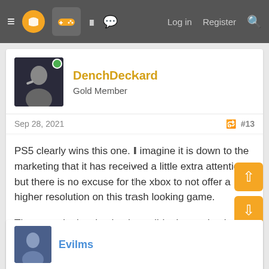≡ [logo] [gamepad] [grid] [chat]   Log in   Register   🔍
[Figure (screenshot): User avatar image for DenchDeckard — dark photo of a person holding a weapon]
DenchDeckard
Gold Member
Sep 28, 2021   #13
PS5 clearly wins this one. I imagine it is down to the marketing that it has received a little extra attention but there is no excuse for the xbox to not offer a higher resolution on this trash looking game.

The game looks absolutely terrible, I was shocked watching the video.
👍 😂 👁️ Sensationalist, Rivet, chilichote and 9 others
Evilms